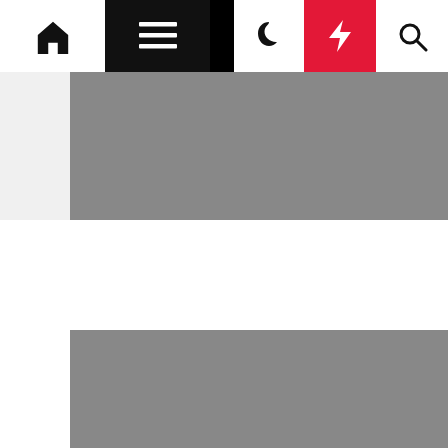Navigation bar with home, menu, dark mode, lightning, and search icons
[Figure (photo): Gray placeholder image at top of article]
General Article
Scorching Springs Health & Fitness
Elwanda Tulloch  1 year ago
[Figure (photo): Gray placeholder image below article metadata]